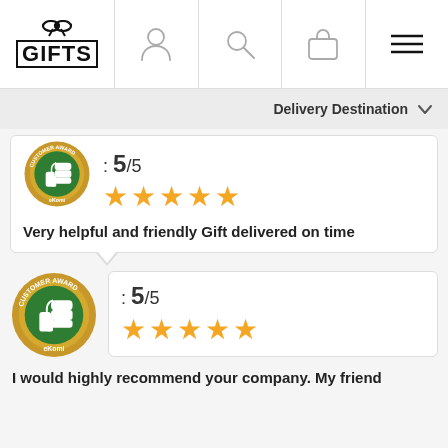GIFTS — navigation bar with account, search, basket, menu icons
Delivery Destination
[Figure (logo): eKomi Customer Award gold badge with thumbs-up icon — partially visible at top]
: 5/5
[Figure (other): 5 gold stars rating]
Very helpful and friendly Gift delivered on time
[Figure (logo): eKomi Customer Award gold badge with thumbs-up icon — full badge]
: 5/5
[Figure (other): 5 gold stars rating]
I would highly recommend your company. My friend